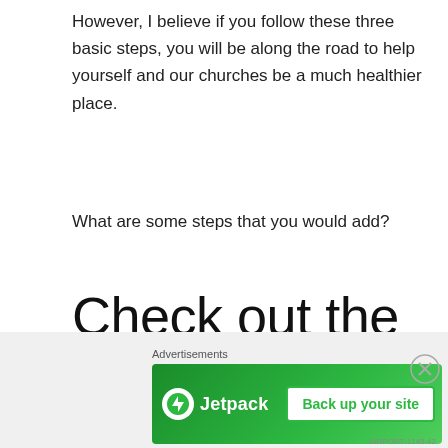However, I believe if you follow these three basic steps, you will be along the road to help yourself and our churches be a much healthier place.
What are some steps that you would add?
Check out the resources used in this post
[Figure (other): Advertisements banner: Jetpack logo with 'Back up your site' button on green background]
Advertisements